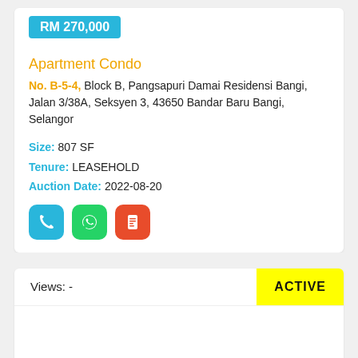RM 270,000
Apartment Condo
No. B-5-4, Block B, Pangsapuri Damai Residensi Bangi, Jalan 3/38A, Seksyen 3, 43650 Bandar Baru Bangi, Selangor
Size: 807 SF
Tenure: LEASEHOLD
Auction Date: 2022-08-20
[Figure (infographic): Three icon buttons: phone (blue), WhatsApp (green), document (red-orange)]
Views: -
ACTIVE